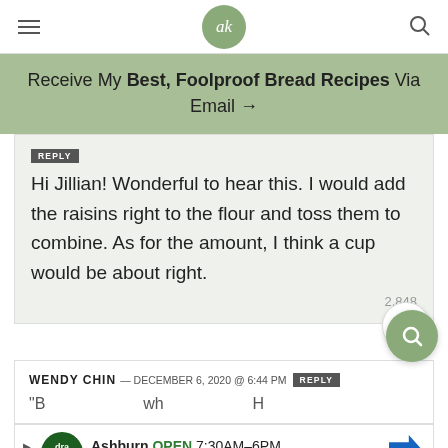ak (logo)
Receive My Best, Foolproof Bread Recipes Via Email →
REPLY
Hi Jillian! Wonderful to hear this. I would add the raisins right to the flour and toss them to combine. As for the amount, I think a cup would be about right.
2,848
WENDY CHIN — DECEMBER 6, 2020 @ 6:44 PM  REPLY
"B... wh... H
Ashburn OPEN 7:30AM–6PM
43781 Parkhurst Plaza, Ashburn